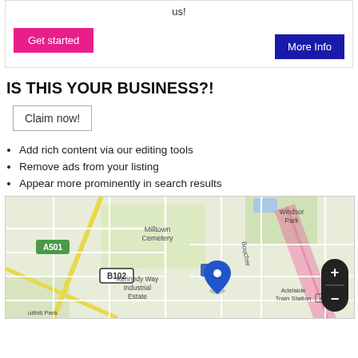us!
Get started
More Info
IS THIS YOUR BUSINESS?!
Claim now!
Add rich content via our editing tools
Remove ads from your listing
Appear more prominently in search results
[Figure (map): Street map showing Milltown Cemetery, Kennedy Way Industrial Estate, Windsor Park, Adelaide Train Station, Boucher road, A501, B102 roads, with a blue location pin marker in the center.]